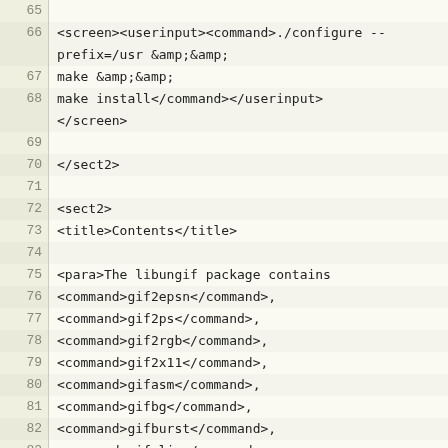Code listing lines 65-86 showing XML source with screen, userinput, command, sect2, title, para, and command tags for libungif package documentation
| line | code |
| --- | --- |
| 65 |  |
| 66 | <screen><userinput><command>./configure -- |
|  | prefix=/usr &amp;&amp; |
| 67 | make &amp;&amp; |
| 68 | make install</command></userinput> |
|  | </screen> |
| 69 |  |
| 70 | </sect2> |
| 71 |  |
| 72 | <sect2> |
| 73 | <title>Contents</title> |
| 74 |  |
| 75 | <para>The libungif package contains |
| 76 | <command>gif2epsn</command>, |
| 77 | <command>gif2ps</command>, |
| 78 | <command>gif2rgb</command>, |
| 79 | <command>gif2x11</command>, |
| 80 | <command>gifasm</command>, |
| 81 | <command>gifbg</command>, |
| 82 | <command>gifburst</command>, |
| 83 | <command>gifclip</command>, |
| 84 | <command>gifclrmp</command>, |
| 85 | <command>gifcolor</command>, |
| 86 | <command>gifcomb</command>, |